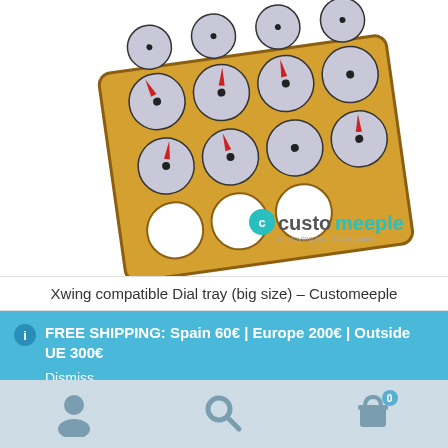[Figure (photo): Wooden dial tray board game accessory with circular cutouts holding game dials, some filled with X-Wing game dials and some empty. Customeeple brand logo visible at bottom right of image.]
Xwing compatible Dial tray (big size) – Customeeple
FREE SHIPPING: Spain 60€ | Europe 200€ | Outside UE 300€
Dismiss
[Figure (infographic): Bottom navigation bar with user account icon, search icon, and shopping cart icon with badge showing 0 items]